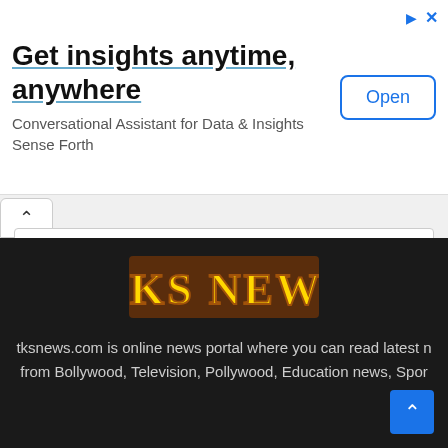[Figure (screenshot): Advertisement banner with title 'Get insights anytime, anywhere', subtitle 'Conversational Assistant for Data & Insights Sense Forth', and an Open button]
[Figure (screenshot): Collapsible panel with chevron up button and white content area]
[Figure (logo): TKS NEWS logo in yellow Western-style text on dark background]
tksnews.com is online news portal where you can read latest n from Bollywood, Television, Pollywood, Education news, Spor